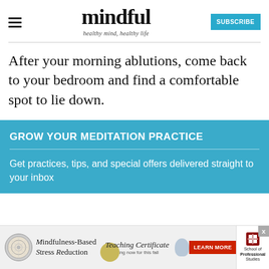mindful — healthy mind, healthy life
After your morning ablutions, come back to your bedroom and find a comfortable spot to lie down.
GROW YOUR MEDITATION PRACTICE
Get practices, tips, and special offers delivered straight to your inbox
[Figure (infographic): Advertisement banner for Mindfulness-Based Stress Reduction Teaching Certificate course, with learn more button and School of Professional Studies logo]